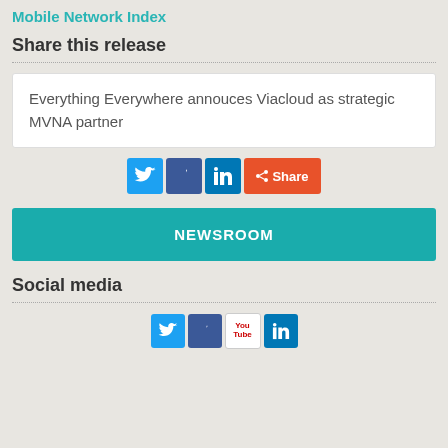Mobile Network Index
Share this release
Everything Everywhere annouces Viacloud as strategic MVNA partner
[Figure (infographic): Social sharing icons: Twitter (blue bird), Facebook (blue f), LinkedIn (blue in), Share button (orange)]
NEWSROOM
Social media
[Figure (infographic): Social media icons: Twitter (blue bird), Facebook (blue f), YouTube (red play), LinkedIn (blue in)]